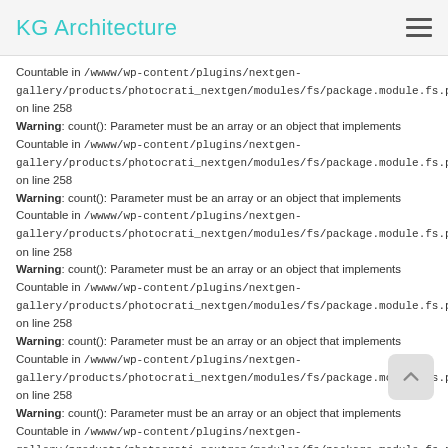KG Architecture
Countable in /wwww/wp-content/plugins/nextgen-gallery/products/photocrati_nextgen/modules/fs/package.module.fs.php on line 258
Warning: count(): Parameter must be an array or an object that implements Countable in /wwww/wp-content/plugins/nextgen-gallery/products/photocrati_nextgen/modules/fs/package.module.fs.php on line 258
Warning: count(): Parameter must be an array or an object that implements Countable in /wwww/wp-content/plugins/nextgen-gallery/products/photocrati_nextgen/modules/fs/package.module.fs.php on line 258
Warning: count(): Parameter must be an array or an object that implements Countable in /wwww/wp-content/plugins/nextgen-gallery/products/photocrati_nextgen/modules/fs/package.module.fs.php on line 258
Warning: count(): Parameter must be an array or an object that implements Countable in /wwww/wp-content/plugins/nextgen-gallery/products/photocrati_nextgen/modules/fs/package.module.fs.php on line 258
Warning: count(): Parameter must be an array or an object that implements Countable in /wwww/wp-content/plugins/nextgen-gallery/products/photocrati_nextgen/modules/fs/package.module.fs.php on line 258
Warning: count(): Parameter must be an array or an object that implements Countable in /wwww/wp-content/plugins/nextgen-gallery/products/photocrati_nextgen/modules/fs/package.module.fs.php on line 258
Warning: count(): Parameter must be an array or an object that implements Countable in /wwww/wp-content/plugins/nextgen-gallery/products/photocrati_nextgen/modules/fs/package.module.fs.php on line 258
Warning: count(): Parameter must be an array or an object that implements Countable in /wwww/wp-content/plugins/nextgen-gallery/products/photocrati_nextgen/modules/fs/package.module.fs.php on line 258
Warning: count(): Parameter must be an array or an object that implements Countable in /wwww/wp-content/plugins/nextgen-gallery/products/photocrati_nextgen/modules/fs/package.module.fs.php on line 258